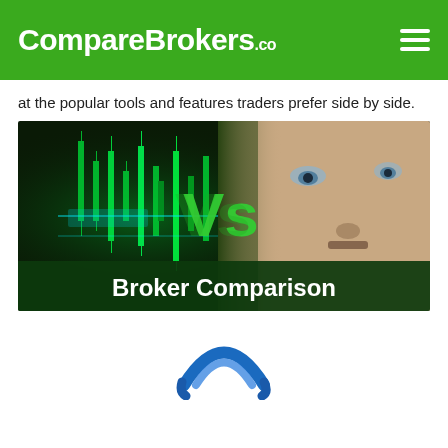CompareBrokers.co
at the popular tools and features traders prefer side by side.
[Figure (photo): Broker comparison hero image showing a man's face with green trading charts overlaid and text 'Vs Broker Comparison' on a dark green banner]
[Figure (logo): Circular blue logo mark at the bottom of the page]